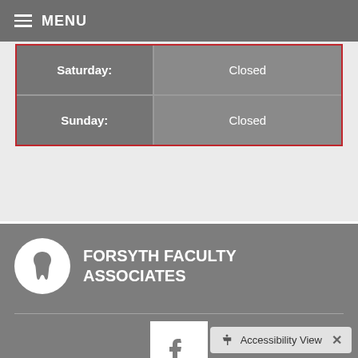≡ MENU
| Saturday: | Closed |
| Sunday: | Closed |
FORSYTH FACULTY ASSOCIATES
[Figure (logo): White tooth icon on circular white background]
[Figure (logo): Facebook icon - white 'f' on white square background]
Accessibility View